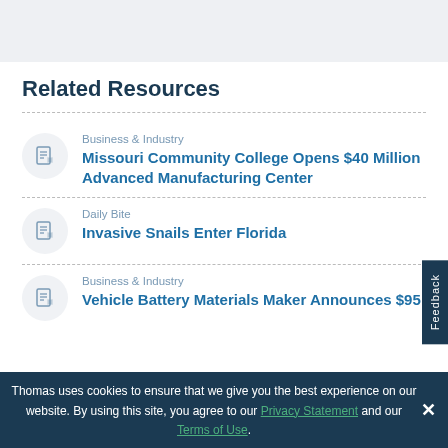[Figure (other): Gray banner/header area at top of page]
Related Resources
Business & Industry — Missouri Community College Opens $40 Million Advanced Manufacturing Center
Daily Bite — Invasive Snails Enter Florida
Business & Industry — Vehicle Battery Materials Maker Announces $95
Thomas uses cookies to ensure that we give you the best experience on our website. By using this site, you agree to our Privacy Statement and our Terms of Use.